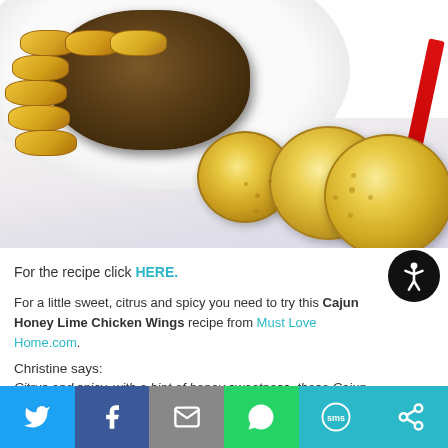[Figure (photo): Photo of crackers and a cheese ball in a white bowl on a marble surface, with a red knife and large round crackers in the foreground]
For the recipe click HERE.
For a little sweet, citrus and spicy you need to try this Cajun Honey Lime Chicken Wings recipe from Must Love Home.com.
Christine says:
Citrus and spicy, with a hint of honey sweetness, these Cajun